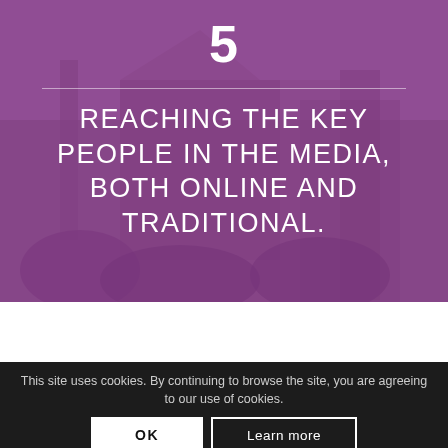[Figure (illustration): Purple/mauve overlay on a background photo of a building, used as a chapter section header image]
5
REACHING THE KEY PEOPLE IN THE MEDIA, BOTH ONLINE AND TRADITIONAL.
This site uses cookies. By continuing to browse the site, you are agreeing to our use of cookies.